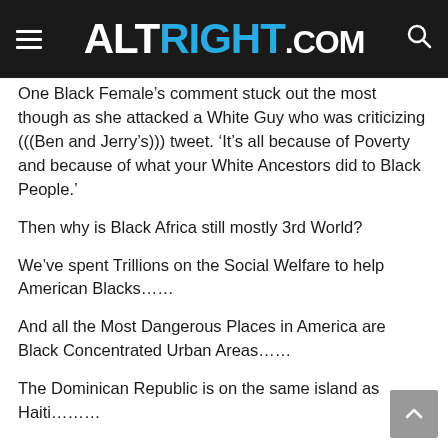ALTRIGHT.COM
One Black Female’s comment stuck out the most though as she attacked a White Guy who was criticizing (((Ben and Jerry’s))) tweet. ‘It’s all because of Poverty and because of what your White Ancestors did to Black People.’
Then why is Black Africa still mostly 3rd World?
We’ve spent Trillions on the Social Welfare to help American Blacks……
And all the Most Dangerous Places in America are Black Concentrated Urban Areas……
The Dominican Republic is on the same island as Haiti………